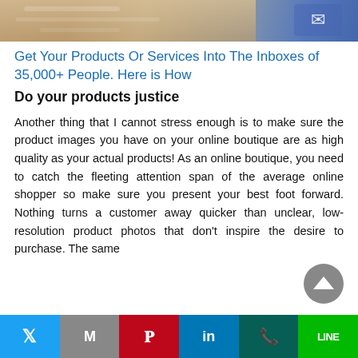[Figure (photo): Partial photo showing hands on a keyboard with email/envelope graphic in the background]
Get Your Products Or Services Into The Inboxes of 35,000+ People. Here is How
Do your products justice
Another thing that I cannot stress enough is to make sure the product images you have on your online boutique are as high quality as your actual products! As an online boutique, you need to catch the fleeting attention span of the average online shopper so make sure you present your best foot forward. Nothing turns a customer away quicker than unclear, low-resolution product photos that don't inspire the desire to purchase. The same
Twitter | Gmail | Pinterest | LinkedIn | WhatsApp | Line